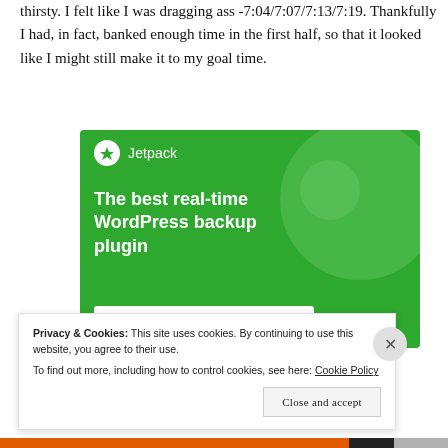thirsty. I felt like I was dragging ass -7:04/7:07/7:13/7:19. Thankfully I had, in fact, banked enough time in the first half, so that it looked like I might still make it to my goal time.
[Figure (illustration): Jetpack WordPress plugin advertisement with green background, bold white text reading 'The best real-time WordPress backup plugin' and a white button labeled 'Back up your site']
Privacy & Cookies: This site uses cookies. By continuing to use this website, you agree to their use.
To find out more, including how to control cookies, see here: Cookie Policy
Close and accept